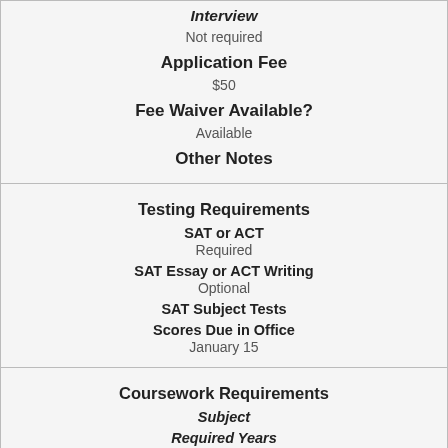Interview
Not required
Application Fee
$50
Fee Waiver Available?
Available
Other Notes
Testing Requirements
SAT or ACT
Required
SAT Essay or ACT Writing
Optional
SAT Subject Tests
Scores Due in Office
January 15
Coursework Requirements
Subject
Required Years
English